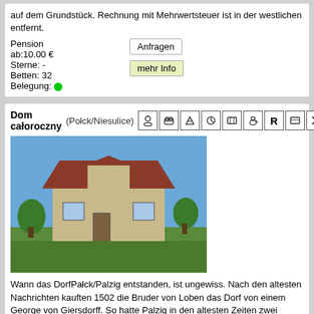auf dem Grundstück. Rechnung mit Mehrwertsteuer ist in der westlichen entfernt.
Pension
ab:10.00 €
Sterne: -
Betten: 32
Belegung: ●
Dom całoroczny (Połck/Niesulice)
[Figure (photo): Photo of a rural house with red roof surrounded by greenery]
Wann das DorfPałck/Palzig entstanden, ist ungewiss. Nach den altesten Nachrichten kauften 1502 die Bruder von Loben das Dorf von einem George von Giersdorff. So hatte Palzig in den altesten Zeiten zwei Guter, den sogen. grossen und kleinen Hof.Heute ladt der kleine Hof nach drei Jahren der Renovierung ein.
Ferienhaus
ab:10.00 €
Sterne: -
Betten: 17
Belegung: ●
Wynajem Pokoi Gościnnych (Kołobrzeg)